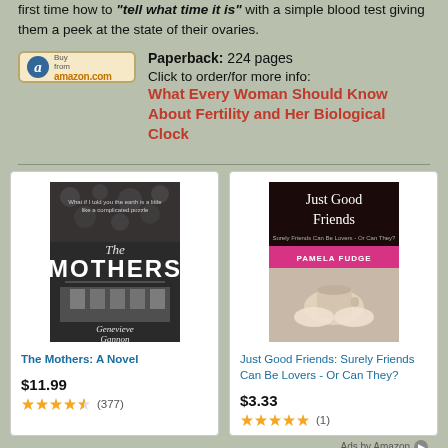first time how to "tell what time it is" with a simple blood test giving them a peek at the state of their ovaries.
Paperback: 224 pages
Click to order/for more info: What Every Woman Should Know About Fertility and Her Biological Clock
[Figure (other): Buy from amazon.com button]
[Figure (other): Book cover: The Mothers: A Novel by Genevieve Gannon]
The Mothers: A Novel
$11.99
★★★★☆ (377)
[Figure (other): Book cover: Just Good Friends: Surely Friends Can Be Lovers - Or Can They? by Pamela Fudge]
Just Good Friends: Surely Friends Can Be Lovers - Or Can They?
$3.33
★★★★★ (1)
Ads by Amazon